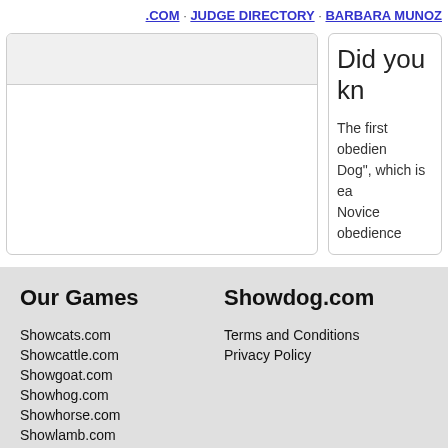.COM · JUDGE DIRECTORY · BARBARA MUNOZ
[Figure (screenshot): Left panel with gray header bar and white body area, bordered box]
Did you kn
The first obedien
Dog", which is ea
Novice obedience
Our Games
Showcats.com
Showcattle.com
Showgoat.com
Showhog.com
Showhorse.com
Showlamb.com
Showrabbits.com
Trophyhorse.com
Showdog.com
Terms and Conditions
Privacy Policy